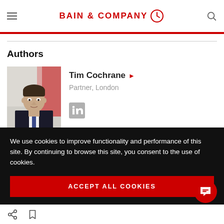BAIN & COMPANY
Authors
[Figure (photo): Headshot of Tim Cochrane, a man in a dark suit with a blurred red and grey background]
Tim Cochrane ▶ Partner, London
[Figure (logo): LinkedIn logo icon]
We use cookies to improve functionality and performance of this site. By continuing to browse this site, you consent to the use of cookies.
ACCEPT ALL COOKIES
Share and bookmark icons at bottom